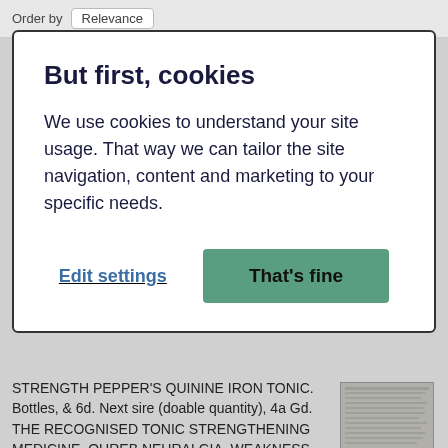Order by  Relevance
But first, cookies
We use cookies to understand your site usage. That way we can tailor the site navigation, content and marketing to your specific needs.
Edit settings   That's fine
STRENGTH PEPPER'S QUININE IRON TONIC. Bottles, & 6d. Next sire (doable quantity), 4a Gd. THE RECOGNISED TONIC STRENGTHENING MEDICINE. OUREB NEURALGIA, WEAKNESS. HYSTERIA, NERVOUS COMPLAINTS GENERAL DEBILITY, INCREASES STRENGTH ..."
16 February 1893 - Northern Whig ...